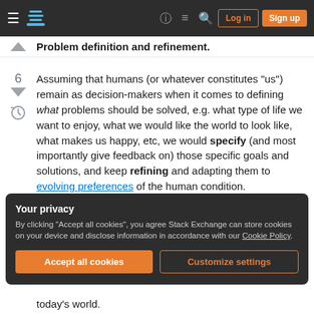Stack Exchange navigation bar with Log in and Sign up buttons
Problem definition and refinement.
Assuming that humans (or whatever constitutes "us") remain as decision-makers when it comes to defining what problems should be solved, e.g. what type of life we want to enjoy, what we would like the world to look like, what makes us happy, etc, we would specify (and most importantly give feedback on) those specific goals and solutions, and keep refining and adapting them to evolving preferences of the human condition.
Your privacy
By clicking "Accept all cookies", you agree Stack Exchange can store cookies on your device and disclose information in accordance with our Cookie Policy.
Accept all cookies | Customize settings
today's world.